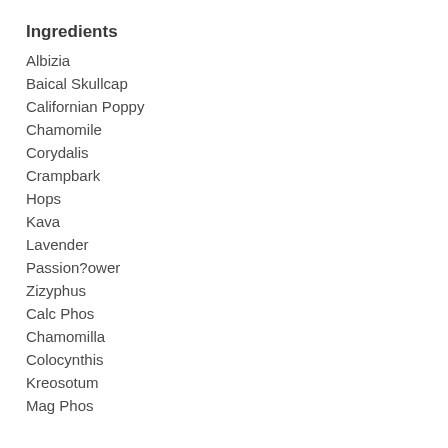Ingredients
Albizia
Baical Skullcap
Californian Poppy
Chamomile
Corydalis
Crampbark
Hops
Kava
Lavender
Passion?ower
Zizyphus
Calc Phos
Chamomilla
Colocynthis
Kreosotum
Mag Phos